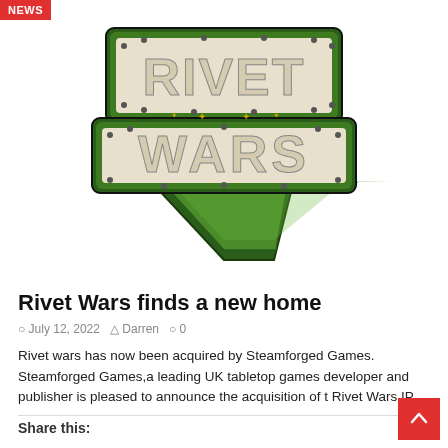NEWS
[Figure (logo): Rivet Wars game logo — stylized text 'RIVET WARS' in a military/retro comic style with green and cream colors, riveted metal plate effect, on white background]
Rivet Wars finds a new home
July 12, 2022  Darren  0
Rivet wars has now been acquired by Steamforged Games. Steamforged Games,a leading UK tabletop games developer and publisher is pleased to announce the acquisition of the Rivet Wars IP.
Share this: